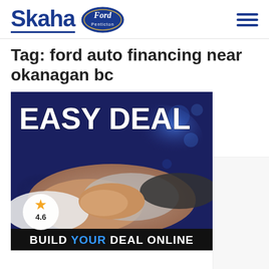Skaha Ford Penticton
Tag: ford auto financing near okanagan bc
[Figure (photo): Advertisement image with two people shaking hands in a car dealership, text 'EASY DEAL' at the top, a 4.6 star rating badge in the lower left, and a black bar at the bottom reading 'BUILD YOUR DEAL ONLINE']